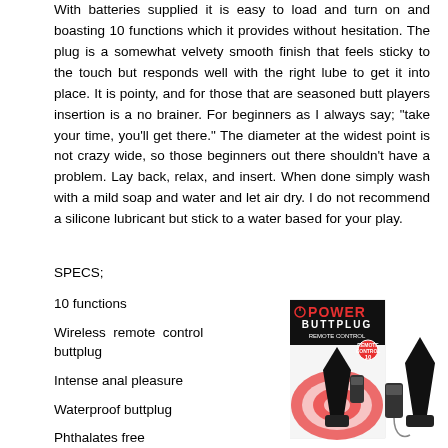With batteries supplied it is easy to load and turn on and boasting 10 functions which it provides without hesitation. The plug is a somewhat velvety smooth finish that feels sticky to the touch but responds well with the right lube to get it into place. It is pointy, and for those that are seasoned butt players insertion is a no brainer. For beginners as I always say; "take your time, you'll get there." The diameter at the widest point is not crazy wide, so those beginners out there shouldn't have a problem. Lay back, relax, and insert. When done simply wash with a mild soap and water and let air dry. I do not recommend a silicone lubricant but stick to a water based for your play.
SPECS;
10 functions
Wireless remote control buttplug
Intense anal pleasure
Waterproof buttplug
Phthalates free
RoHS compliant
[Figure (photo): Product image showing Power Buttplug remote control vibrating butt plug in packaging and standalone, black silicone plug with remote control]